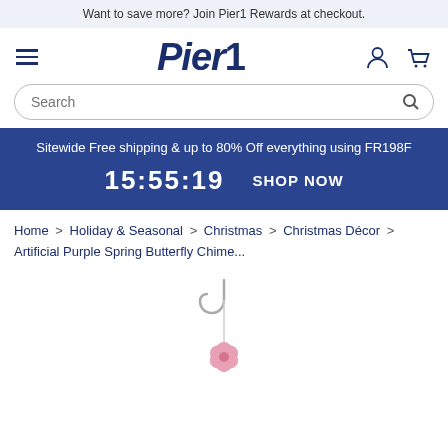Want to save more? Join Pier1 Rewards at checkout.
[Figure (logo): Pier1 logo with hamburger menu, user icon, and cart icon]
Search
Sitewide Free shipping & up to 80% Off everything using FR198F
15:55:19   SHOP NOW
Home > Holiday & Seasonal > Christmas > Christmas Décor > Artificial Purple Spring Butterfly Chime...
[Figure (photo): Product image of a pink butterfly/flower wind chime ornament hanging on a white hook against a white background]